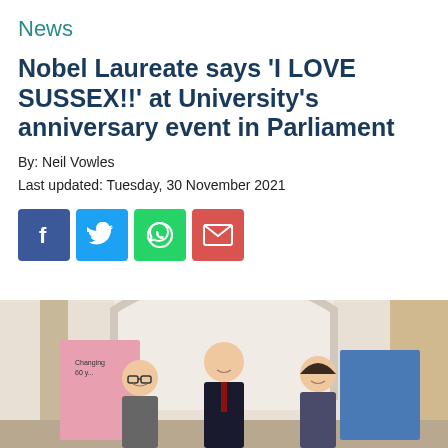News
Nobel Laureate says 'I LOVE SUSSEX!!' at University's anniversary event in Parliament
By: Neil Vowles
Last updated: Tuesday, 30 November 2021
[Figure (infographic): Social share buttons: Facebook (blue), Twitter (light blue), WhatsApp (green), Email (red)]
[Figure (photo): Three people standing in a grand hall with arched architecture. Two men and one woman, smiling, standing in front of display boards. Left board appears pink, right board appears blue.]